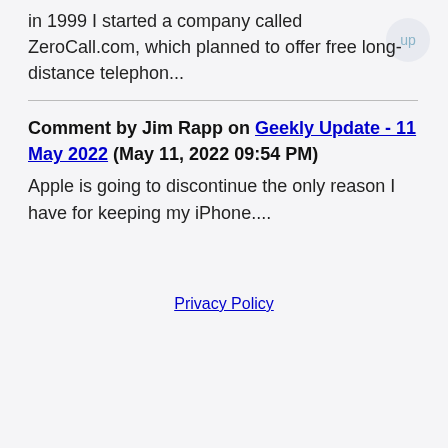in 1999 I started a company called ZeroCall.com, which planned to offer free long-distance telephon...
Comment by Jim Rapp on Geekly Update - 11 May 2022 (May 11, 2022 09:54 PM) Apple is going to discontinue the only reason I have for keeping my iPhone....
Privacy Policy